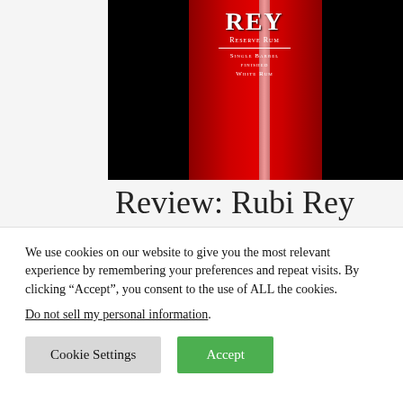[Figure (photo): Rubi Rey Reserve Rum bottle label on black background, red bottle with white text reading 'REY', 'Reserve Rum', 'Single Barrel Finished White Rum']
Review: Rubi Rey Rum
We use cookies on our website to give you the most relevant experience by remembering your preferences and repeat visits. By clicking “Accept”, you consent to the use of ALL the cookies.
Do not sell my personal information.
Cookie Settings   Accept